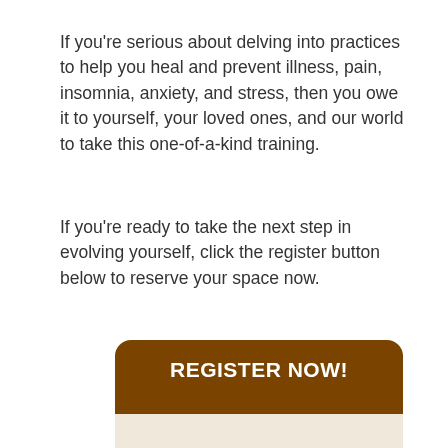If you're serious about delving into practices to help you heal and prevent illness, pain, insomnia, anxiety, and stress, then you owe it to yourself, your loved ones, and our world to take this one-of-a-kind training.
If you're ready to take the next step in evolving yourself, click the register button below to reserve your space now.
[Figure (other): Register Now button/card with brown header saying REGISTER NOW! and a beige lower section with text '1 Payment of']